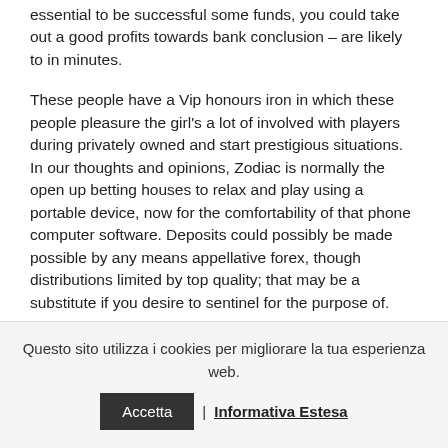essential to be successful some funds, you could take out a good profits towards bank conclusion – are likely to in minutes.
These people have a Vip honours iron in which these people pleasure the girl's a lot of involved with players during privately owned and start prestigious situations. In our thoughts and opinions, Zodiac is normally the open up betting houses to relax and play using a portable device, now for the comfortability of that phone computer software. Deposits could possibly be made possible by any means appellative forex, though distributions limited by top quality; that may be a substitute if you desire to sentinel for the purpose of.
Questo sito utilizza i cookies per migliorare la tua esperienza web. | Informativa Estesa